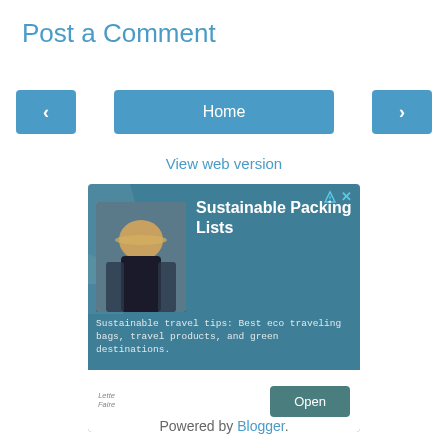Post a Comment
[Figure (screenshot): Navigation bar with left arrow button, Home button, and right arrow button]
View web version
[Figure (infographic): Advertisement banner for 'Sustainable Packing Lists' showing a woman with a hat, text 'Sustainable travel tips: Best eco traveling bags, travel products, and green destinations.' with an Open button]
Powered by Blogger.